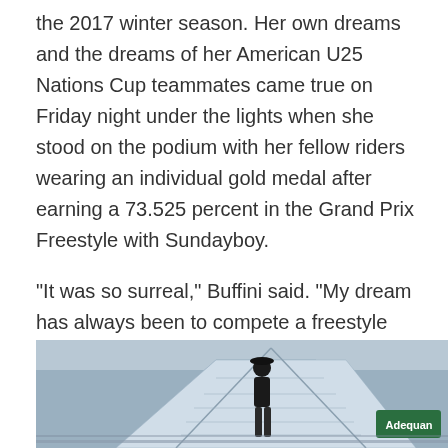the 2017 winter season. Her own dreams and the dreams of her American U25 Nations Cup teammates came true on Friday night under the lights when she stood on the podium with her fellow riders wearing an individual gold medal after earning a 73.525 percent in the Grand Prix Freestyle with Sundayboy.
“It was so surreal,” Buffini said. “My dream has always been to compete a freestyle under the lights, and to do it in Sundayboy’s last competition ever and come out with the win was just unbelievable. I owe him so much and he just tried his heart out for me. I’m so proud of him — he’s such a star.”
[Figure (photo): Outdoor equestrian competition venue photo showing a roof structure and a figure (rider or official) in dark clothing against a grey-blue sky, with an Adequan sponsor sign visible in the lower right.]